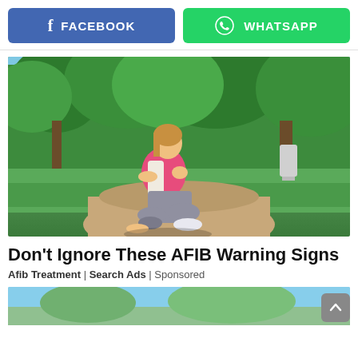[Figure (other): Facebook share button (blue) and WhatsApp share button (green) side by side]
[Figure (photo): Woman in pink shirt crouching on a park path, holding her chest, appearing to be in distress — surrounded by green trees and grass]
Don't Ignore These AFIB Warning Signs
Afib Treatment | Search Ads | Sponsored
[Figure (photo): Partial bottom strip showing beginning of another outdoor photo]